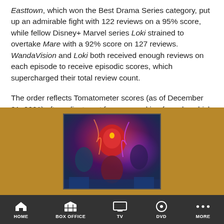Easttown, which won the Best Drama Series category, put up an admirable fight with 122 reviews on a 95% score, while fellow Disney+ Marvel series Loki strained to overtake Mare with a 92% score on 127 reviews. WandaVision and Loki both received enough reviews on each episode to receive episodic scores, which supercharged their total review count.
The order reflects Tomatometer scores (as of December 31, 2021) after adjustment from our ranking formula, which compensates for variation in the number of reviews when comparing movies or TV shows.
« Previous Category    Next Category »
[Figure (photo): Movie poster image showing Marvel characters including Vision (red figure) and Wanda with other characters, displayed on a golden/amber background section]
HOME   BOX OFFICE   TV   DVD   MORE